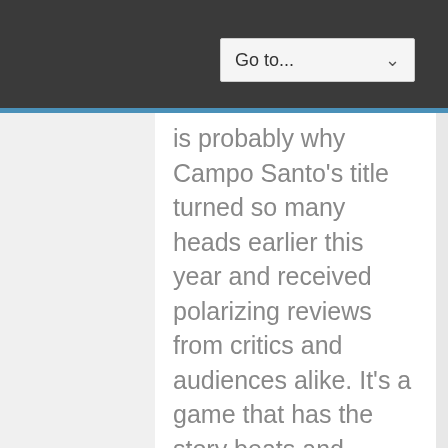screenplay for an Alexander Payne film that's set up for a video game.  Which is probably why Campo Santo's title turned so many heads earlier this year and received polarizing reviews from critics and audiences alike.  It's a game that has the story beats and ambiguous nature of an arthouse film.  For some, it was a revelation.  Others wondered what all the fuss was about.
For me, Firewatch was an absolute joy to play.  Like a good book or a thought provoking film, the characters, the mysteries and the ending stayed with me long after I completed the game.  The quality of the script is what elevates Firewatch amongst its contemporaries.  Campo Santo writer Sean Vanaman has created a fascinating pair of lead characters and the overall presentation of